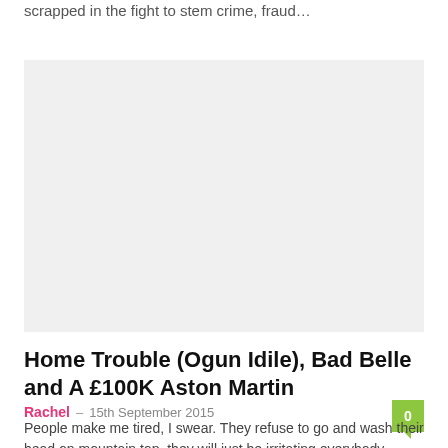scrapped in the fight to stem crime, fraud…
[Figure (photo): Light grey placeholder image rectangle]
Home Trouble (Ogun Idile), Bad Belle and A £100K Aston Martin
Rachel – 15th September 2015
People make me tired, I swear. They refuse to go and wash their head on mountain top, they will just be irritating everybody else…